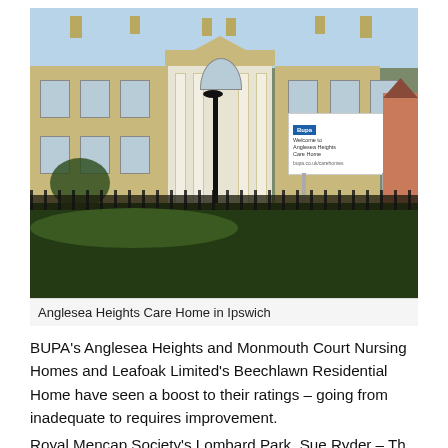[Figure (photo): Photograph of Anglesea Heights Care Home in Ipswich — a large Georgian-style cream/tan brick building with white columned portico, multiple chimneys, sash windows, a black iron fence, and a BUPA sign in the forecourt. Dense hedges and greenery in the foreground.]
Anglesea Heights Care Home in Ipswich
BUPA's Anglesea Heights and Monmouth Court Nursing Homes and Leafoak Limited's Beechlawn Residential Home have seen a boost to their ratings – going from inadequate to requires improvement.
Royal Mencap Society's Lombard Park, Sue Ryder – The